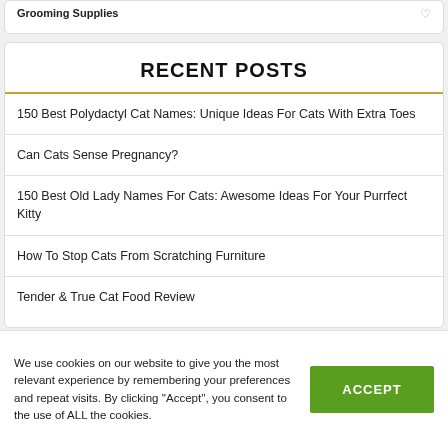Grooming Supplies
RECENT POSTS
150 Best Polydactyl Cat Names: Unique Ideas For Cats With Extra Toes
Can Cats Sense Pregnancy?
150 Best Old Lady Names For Cats: Awesome Ideas For Your Purrfect Kitty
How To Stop Cats From Scratching Furniture
Tender & True Cat Food Review
We use cookies on our website to give you the most relevant experience by remembering your preferences and repeat visits. By clicking "Accept", you consent to the use of ALL the cookies.